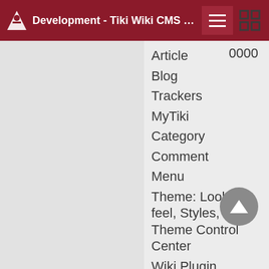Development - Tiki Wiki CMS Groupware
Article    0000
Blog
Trackers
MyTiki
Category
Comment
Menu
Theme: Look & feel, Styles, CSS, Theme Control Center
Wiki Plugin (extends basic syntax)
Modules
Site Identity
Search engine